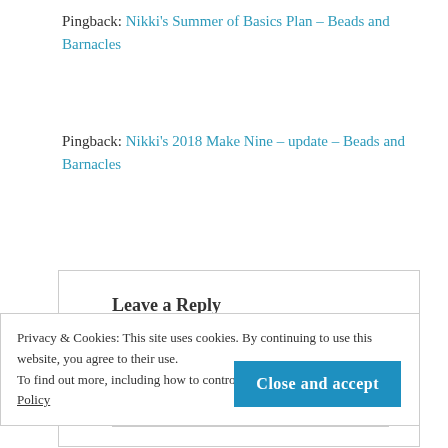Pingback: Nikki's Summer of Basics Plan – Beads and Barnacles
Pingback: Nikki's 2018 Make Nine – update – Beads and Barnacles
Leave a Reply
Enter your comment here...
Privacy & Cookies: This site uses cookies. By continuing to use this website, you agree to their use.
To find out more, including how to control cookies, see here: Cookie Policy